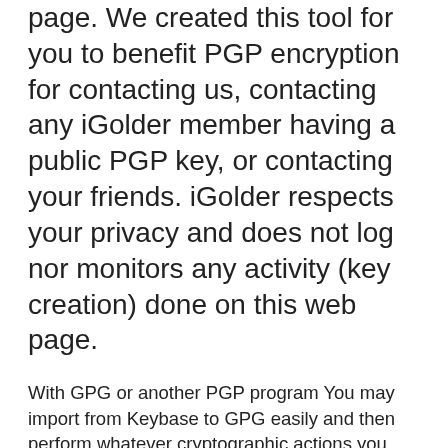page. We created this tool for you to benefit PGP encryption for contacting us, contacting any iGolder member having a public PGP key, or contacting your friends. iGolder respects your privacy and does not log nor monitors any activity (key creation) done on this web page.
With GPG or another PGP program You may import from Keybase to GPG easily and then perform whatever cryptographic actions you want. # using curl curl https://keybase.io/ [them] /key.asc | gpg --import # using `keybase pgp pull` which # imports to GPG key chain for you keybase follow [them] keybase pgp pull [them] Acquire the public key from the person that this message claims to be. Save this and import into your PGP client. Copy to clipboard. Your PGP client should have an option to decrypt/verify